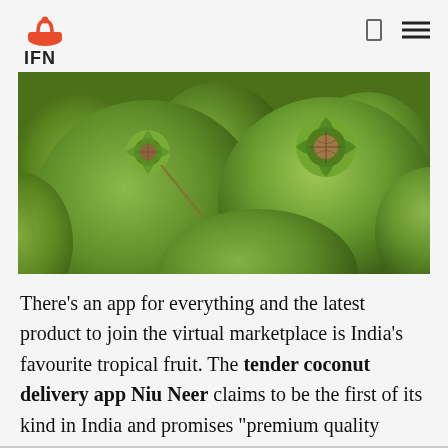IFN
[Figure (photo): Close-up photo of green tender coconuts piled together, showing their tops with brown fibrous centers]
There's an app for everything and the latest product to join the virtual marketplace is India's favourite tropical fruit. The tender coconut delivery app Niu Neer claims to be the first of its kind in India and promises "premium quality tender coconuts" along with "convenience and consistency" to its consumers.